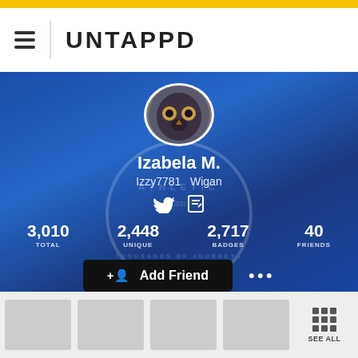UNTAPPD
[Figure (screenshot): Untappd user profile page showing Izabela M. with 3,010 total check-ins, 2,448 unique beers, 2,717 badges, 40 friends, and an Add Friend button.]
Izabela M.
Izzy7781  Wigan
3,010 TOTAL   2,448 UNIQUE   2,717 BADGES   40 FRIENDS
+ Add Friend   ...
[Figure (other): Row of 4 grey badge/achievement tiles followed by a 'SEE ALL' tile with a 3x3 grid icon]